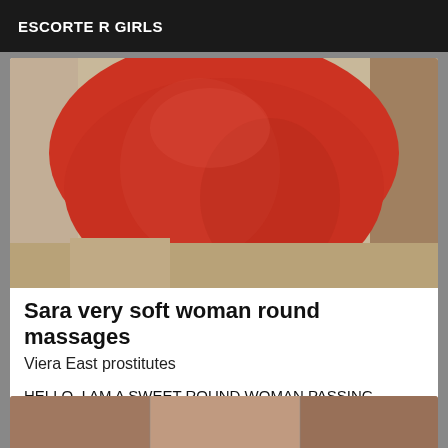ESCORTE R GIRLS
[Figure (photo): Close-up photo of a person wearing a red/orange top, torso cropped, taken indoors with beige walls visible in background]
Sara very soft woman round massages
Viera East prostitutes
HELLO, I AM A SWEET ROUND WOMAN PASSING THROUGH VIERA EAST, I PRACTICE FRENCH KISSING, MASSAGE, BLOWJOB NATURE AND I LIKE ALL POSITIONS, EXCEPT THE *, ... KISSES, A VERY FAST!
[Figure (photo): Partial photo visible at bottom of page, cropped, showing skin tones in warm light]